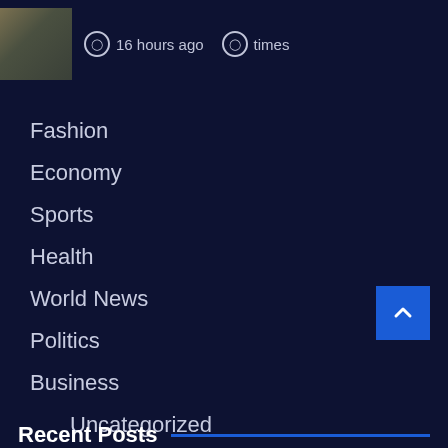[Figure (photo): Small thumbnail image of a motorcycle, partially visible]
16 hours ago
times
Fashion
Economy
Sports
Health
World News
Politics
Business
Uncategorized
Tech
COVID 19
Recent Posts